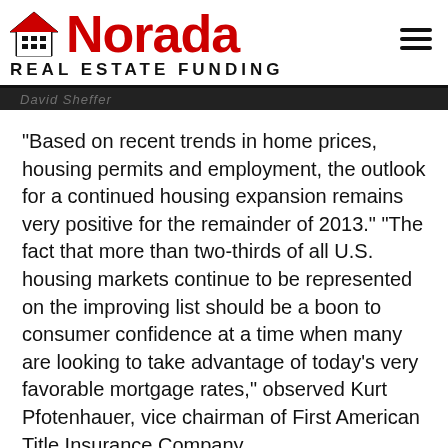Norada Real Estate Funding
David Sheffer
“Based on recent trends in home prices, housing permits and employment, the outlook for a continued housing expansion remains very positive for the remainder of 2013.” “The fact that more than two-thirds of all U.S. housing markets continue to be represented on the improving list should be a boon to consumer confidence at a time when many are looking to take advantage of today’s very favorable mortgage rates,” observed Kurt Pfotenhauer, vice chairman of First American Title Insurance Company.